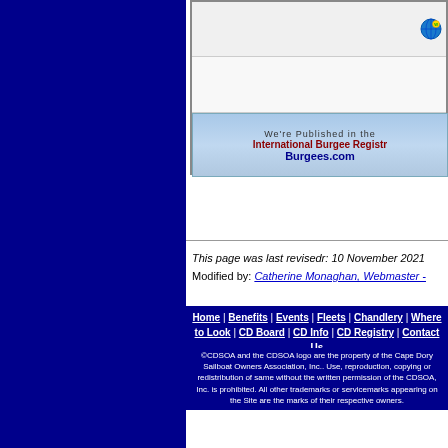[Figure (other): Dark blue left sidebar panel]
[Figure (screenshot): Website banner area showing globe icon, blank section, and International Burgee Registry Burgees.com banner with light blue gradient background]
This page was last revisedr: 10 November 2021
Modified by: Catherine Monaghan, Webmaster -
Home | Benefits | Events | Fleets | Chandlery | Where to Look | CD Board | CD Info | CD Registry | Contact Us
©CDSOA and the CDSOA logo are the property of the Cape Dory Sailboat Owners Association, Inc.. Use, reproduction, copying or redistribution of same without the written permission of the CDSOA, Inc. is prohibited. All other trademarks or servicemarks appearing on the Site are the marks of their respective owners.